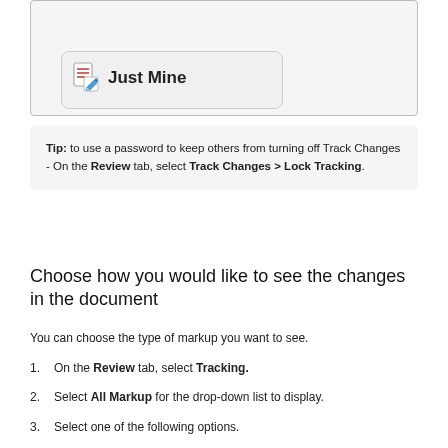[Figure (screenshot): Screenshot showing a dropdown menu item 'Just Mine' with a document/pencil icon]
Tip: to use a password to keep others from turning off Track Changes - On the Review tab, select Track Changes > Lock Tracking.
Choose how you would like to see the changes in the document
You can choose the type of markup you want to see.
On the Review tab, select Tracking.
Select All Markup for the drop-down list to display.
Select one of the following options.